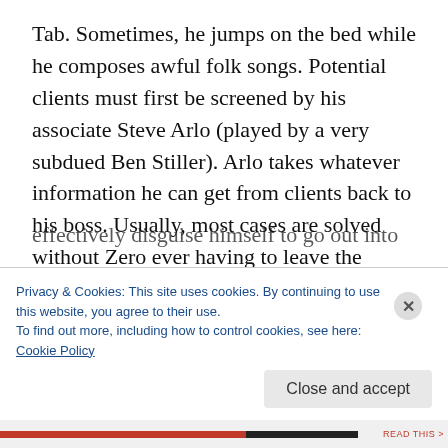Tab. Sometimes, he jumps on the bed while he composes awful folk songs. Potential clients must first be screened by his associate Steve Arlo (played by a very subdued Ben Stiller). Arlo takes whatever information he can get from clients back to his boss. Usually, most cases are solved without Zero ever having to leave the apartment. But this time is different: to follow the list of commands back to their source, Zero is going to have to shave, brush his hair, and effectively disguise himself to go out into the
Privacy & Cookies: This site uses cookies. By continuing to use this website, you agree to their use.
To find out more, including how to control cookies, see here: Cookie Policy
Close and accept